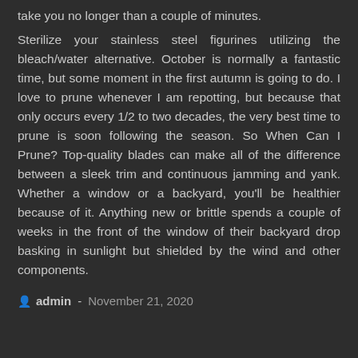take you no longer than a couple of minutes.
Sterilize your stainless steel figurines utilizing the bleach/water alternative. October is normally a fantastic time, but some moment in the first autumn is going to do. I love to prune whenever I am repotting, but because that only occurs every 1/2 to two decades, the very best time to prune is soon following the season. So When Can I Prune? Top-quality blades can make all of the difference between a sleek trim and continuous jamming and yank. Whether a window or a backyard, you'll be healthier because of it. Anything new or brittle spends a couple of weeks in the front of the window of their backyard drop basking in sunlight but shielded by the wind and other components.
admin  -  November 21, 2020